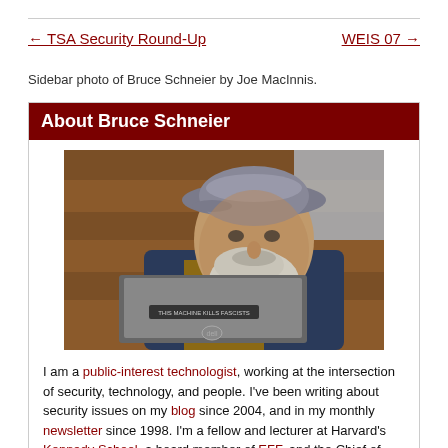← TSA Security Round-Up    WEIS 07 →
Sidebar photo of Bruce Schneier by Joe MacInnis.
About Bruce Schneier
[Figure (photo): Photo of Bruce Schneier, a bearded man wearing a grey flat cap and blue jacket, sitting in front of a laptop with a sticker reading 'THIS MACHINE KILLS FASCISTS']
I am a public-interest technologist, working at the intersection of security, technology, and people. I've been writing about security issues on my blog since 2004, and in my monthly newsletter since 1998. I'm a fellow and lecturer at Harvard's Kennedy School, a board member of EFF, and the Chief of Security Architecture at Inrupt, Inc. This personal website expresses the opinions of none